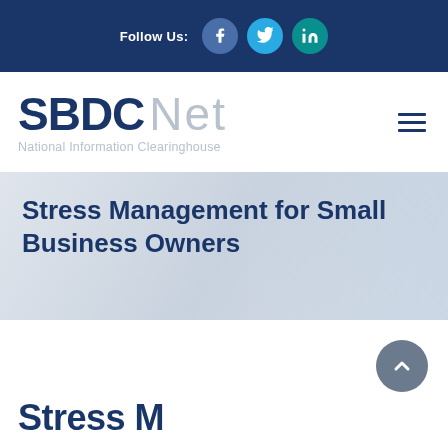Follow Us:
[Figure (logo): SBDC Net National Information Clearinghouse logo with hamburger menu icon]
Stress Management for Small Business Owners
Stress M...